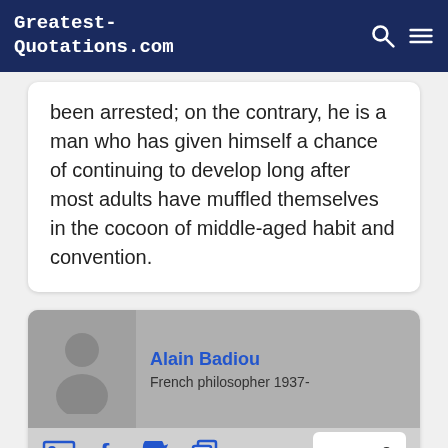Greatest-Quotations.com
been arrested; on the contrary, he is a man who has given himself a chance of continuing to develop long after most adults have muffled themselves in the cocoon of middle-aged habit and convention.
Alain Badiou
French philosopher 1937-
A Truth is the subjective development of that which is